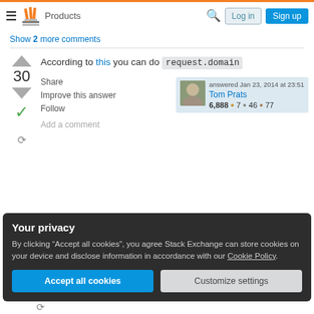≡  [Stack Overflow logo]  Products  🔍  Log in  Sign up
Show 2 more comments
According to this you can do request.domain
Share
Improve this answer
Follow
answered Jan 23, 2014 at 23:51
Tom Prats
6,888 ● 7 ● 46 ● 77
Add a comment
Your privacy
By clicking "Accept all cookies", you agree Stack Exchange can store cookies on your device and disclose information in accordance with our Cookie Policy.
Accept all cookies   Customize settings